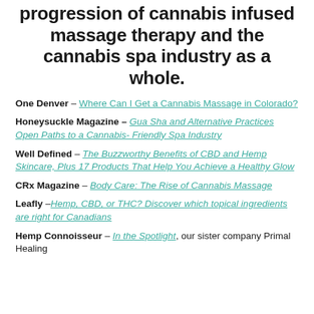progression of cannabis infused massage therapy and the cannabis spa industry as a whole.
One Denver – Where Can I Get a Cannabis Massage in Colorado?
Honeysuckle Magazine – Gua Sha and Alternative Practices Open Paths to a Cannabis- Friendly Spa Industry
Well Defined – The Buzzworthy Benefits of CBD and Hemp Skincare, Plus 17 Products That Help You Achieve a Healthy Glow
CRx Magazine – Body Care: The Rise of Cannabis Massage
Leafly – Hemp, CBD, or THC? Discover which topical ingredients are right for Canadians
Hemp Connoisseur – In the Spotlight, our sister company Primal Healing